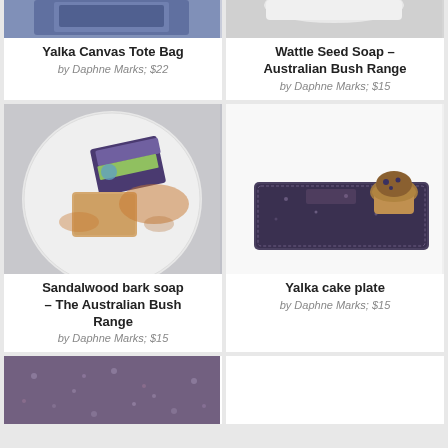[Figure (photo): Yalka Canvas Tote Bag product photo (partial, top cropped) showing dark blue denim/canvas material]
Yalka Canvas Tote Bag
by Daphne Marks; $22
[Figure (photo): Wattle Seed Soap Australian Bush Range product photo (partial, top cropped) showing white plate/marble surface]
Wattle Seed Soap – Australian Bush Range
by Daphne Marks; $15
[Figure (photo): Sandalwood bark soap – The Australian Bush Range product photo showing soap bar on round white marble board with cinnamon powder]
Sandalwood bark soap – The Australian Bush Range
by Daphne Marks; $15
[Figure (photo): Yalka cake plate product photo showing dark speckled stone/resin rectangular plate with a muffin on top]
Yalka cake plate
by Daphne Marks; $15
[Figure (photo): Bottom partial product photo showing dark purple/blue speckled rectangular plate or mat (cropped)]